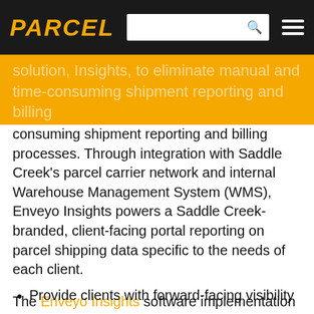PARCEL
solution, Insights, to eliminate manual and time-consuming shipment reporting and billing processes. Through integration with Saddle Creek's parcel carrier network and internal Warehouse Management System (WMS), Enveyo Insights powers a Saddle Creek-branded, client-facing portal reporting on parcel shipping data specific to the needs of each client.
The Enveyo Insights software implementation enables Saddle Creek to:
Provide clients with forward-facing visibility